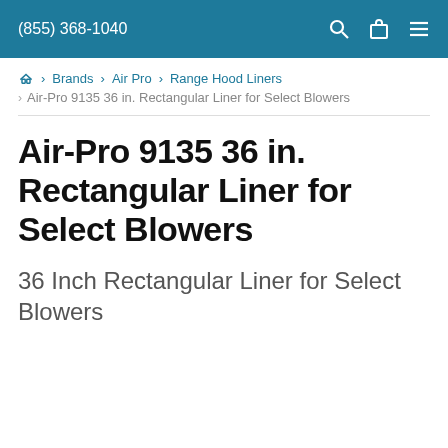(855) 368-1040
Brands > Air Pro > Range Hood Liners > Air-Pro 9135 36 in. Rectangular Liner for Select Blowers
Air-Pro 9135 36 in. Rectangular Liner for Select Blowers
36 Inch Rectangular Liner for Select Blowers